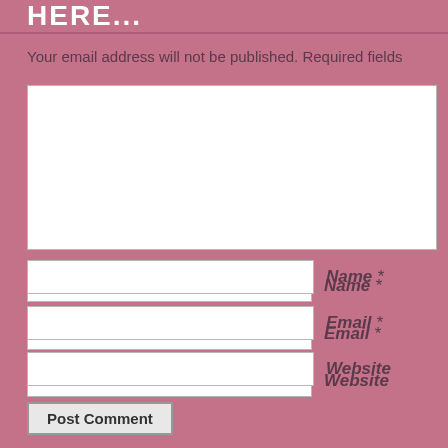HERE...
Your email address will not be published. Required fields
Name *
Email *
Website
Post Comment
Notify me of new comments via email.
Notify me of new posts via email.